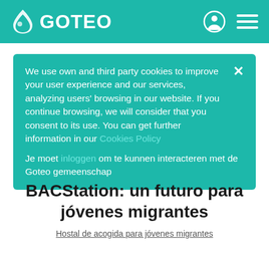GOTEO
We use own and third party cookies to improve your user experience and our services, analyzing users' browsing in our website. If you continue browsing, we will consider that you consent to its use. You can get further information in our Cookies Policy
Je moet inloggen om te kunnen interacteren met de Goteo gemeenschap
BACStation: un futuro para jóvenes migrantes
Hostal de acogida para jóvenes migrantes